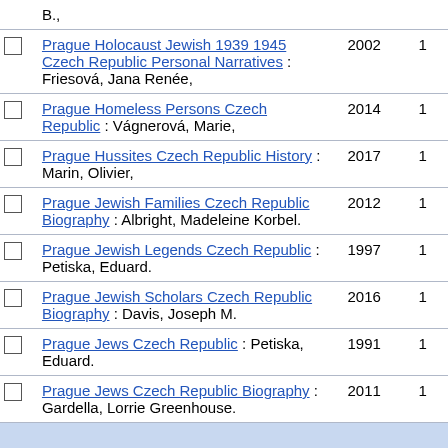B.,
Prague Holocaust Jewish 1939 1945 Czech Republic Personal Narratives : Friesová, Jana Renée, 2002 1
Prague Homeless Persons Czech Republic : Vágnerová, Marie, 2014 1
Prague Hussites Czech Republic History : Marin, Olivier, 2017 1
Prague Jewish Families Czech Republic Biography : Albright, Madeleine Korbel. 2012 1
Prague Jewish Legends Czech Republic : Petiska, Eduard. 1997 1
Prague Jewish Scholars Czech Republic Biography : Davis, Joseph M. 2016 1
Prague Jews Czech Republic : Petiska, Eduard. 1991 1
Prague Jews Czech Republic Biography : Gardella, Lorrie Greenhouse. 2011 1